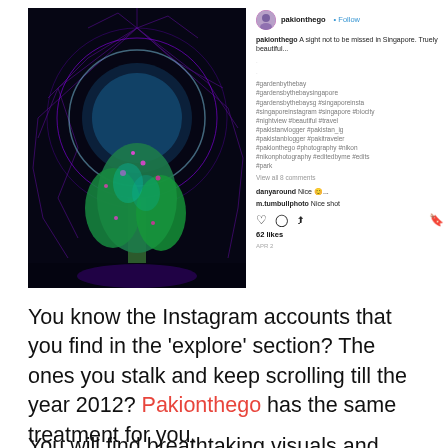[Figure (screenshot): Instagram post screenshot by pakionthego showing a neon-lit supertree at Gardens by the Bay, Singapore, at night with purple and teal lighting. Post includes caption, hashtags, comments (danyaround: Nice, m.tumbullphoto: Nice shot), 62 likes, and action icons.]
You know the Instagram accounts that you find in the 'explore' section? The ones you stalk and keep scrolling till the year 2012? Pakionthego has the same treatment for you.
You will find breathtaking visuals and beautiful